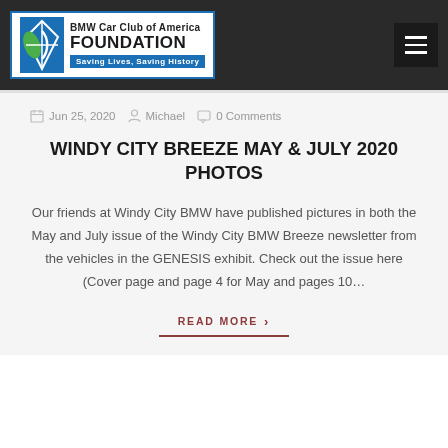[Figure (logo): BMW Car Club of America Foundation logo with tagline 'Saving Lives, Saving History']
BMW Car Club of America FOUNDATION — Saving Lives, Saving History
Jun 25, 2020  Michael  0 Comments
WINDY CITY BREEZE MAY & JULY 2020 PHOTOS
Our friends at Windy City BMW have published pictures in both the May and July issue of the Windy City BMW Breeze newsletter from the vehicles in the GENESIS exhibit. Check out the issue here (Cover page and page 4 for May and pages 10…
READ MORE  >